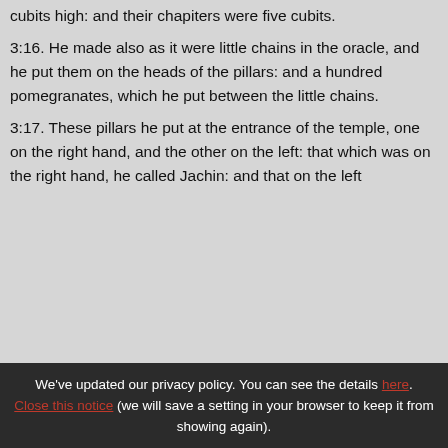cubits high: and their chapiters were five cubits.
3:16. He made also as it were little chains in the oracle, and he put them on the heads of the pillars: and a hundred pomegranates, which he put between the little chains.
3:17. These pillars he put at the entrance of the temple, one on the right hand, and the other on the left: that which was on the right hand, he called Jachin: and that on the left
We've updated our privacy policy. You can see the details here. Close this notice (we will save a setting in your browser to keep it from showing again).